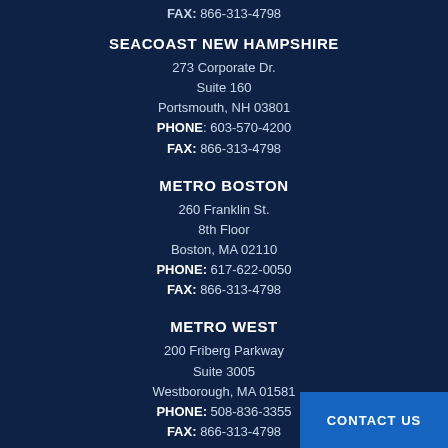FAX: 866-313-4798
SEACOAST NEW HAMPSHIRE
273 Corporate Dr.
Suite 160
Portsmouth, NH 03801
PHONE: 603-570-4200
FAX: 866-313-4798
METRO BOSTON
260 Franklin St.
8th Floor
Boston, MA 02110
PHONE: 617-622-0050
FAX: 866-313-4798
METRO WEST
200 Friberg Parkway
Suite 3005
Westborough, MA 01581
PHONE: 508-836-3355
FAX: 866-313-4798
CONTACT US